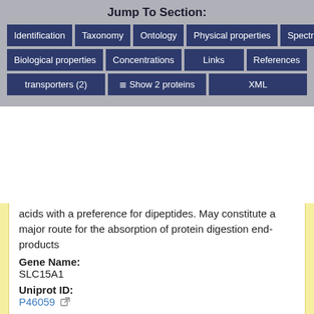Jump To Section:
Identification | Taxonomy | Ontology | Physical properties | Spectra
Biological properties | Concentrations | Links | References
transporters (2) | Show 2 proteins | XML
acids with a preference for dipeptides. May constitute a major route for the absorption of protein digestion end-products
Gene Name:
SLC15A1
Uniprot ID:
P46059
Molecular weight:
78805.3
References
1. Ganapathy ME, Huang W, Wang H, Ganapathy V, Leibach FH: Valacyclovir: a substrate for the intestinal and renal peptide transporters PEPT1 and PEPT2. Biochem Biophys Res Commun. 1998 May